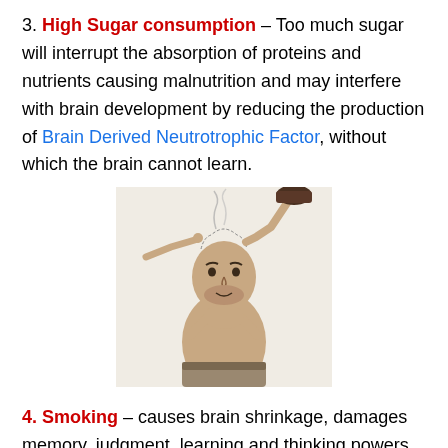3. High Sugar consumption – Too much sugar will interrupt the absorption of proteins and nutrients causing malnutrition and may interfere with brain development by reducing the production of Brain Derived Neutrotrophic Factor, without which the brain cannot learn.
[Figure (photo): A shirtless man sitting with hands clasped under his chin, looking forward, while hands above pour something onto his head with smoke/steam rising.]
4. Smoking – causes brain shrinkage, damages memory, judgment, learning and thinking powers and may even lead to dementia and Alzheimer's disease.
5. Air Pollution – The brain is the largest oxygen